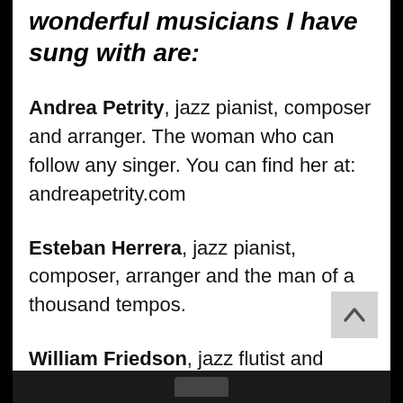wonderful musicians I have sung with are:
Andrea Petrity, jazz pianist, composer and arranger. The woman who can follow any singer. You can find her at: andreapetrity.com
Esteban Herrera, jazz pianist, composer, arranger and the man of a thousand tempos.
William Friedson, jazz flutist and pianist who played and learned